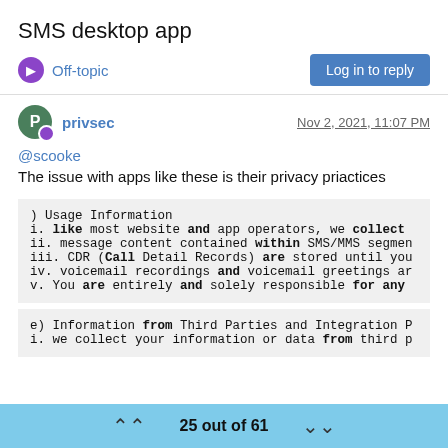SMS desktop app
Off-topic
Log in to reply
privsec
Nov 2, 2021, 11:07 PM
@scooke
The issue with apps like these is their privacy priactices
) Usage Information
i. like most website and app operators, we collect
ii. message content contained within SMS/MMS segmen
iii. CDR (Call Detail Records) are stored until you
iv. voicemail recordings and voicemail greetings ar
v. You are entirely and solely responsible for any
e) Information from Third Parties and Integration P
i. we collect your information or data from third p
25 out of 61